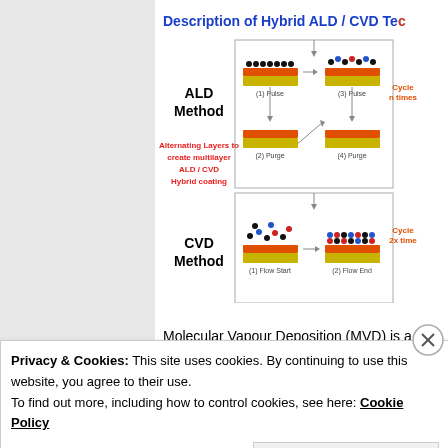Description of Hybrid ALD / CVD Tec
[Figure (schematic): Diagram showing ALD Method (with Pulse/Purge cycle steps 1-4, cycling n times) and CVD Method (Flow Start / Flow End, cycling 2x times). Red text reads 'Alternating Layers to create multilayer ALD / CVD Hybrid coating'.]
Molecular Vapour Deposition (MVD) is a electronics coating market.
Privacy & Cookies: This site uses cookies. By continuing to use this website, you agree to their use.
To find out more, including how to control cookies, see here: Cookie Policy
Close and accept